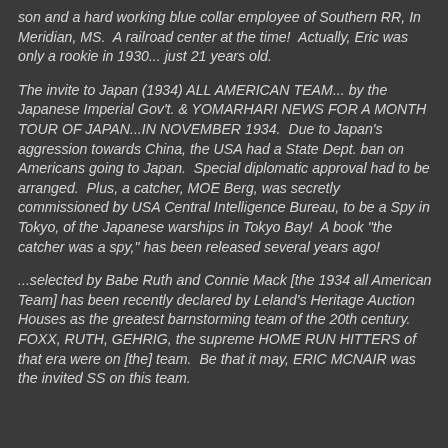son and a hard working blue collar employee of Southern RR, In Meridian, MS.  A railroad center at the time!  Actually, Eric was only a rookie in 1930... just 21 years old.
The invite to Japan (1934) ALL AMERICAN TEAM... by the Japanese Imperial Gov't. & YOMARHARI NEWS FOR A MONTH TOUR OF JAPAN...IN NOVEMBER 1934.  Due to Japan's aggression towards China, the USA had a State Dept. ban on Americans going to Japan.  Special diplomatic approval had to be arranged.  Plus, a catcher, MOE Berg, was secretly commissioned by USA Central Intelligence Bureau, to be a Spy in Tokyo, of the Japanese warships in Tokyo Bay!  A book "the catcher was a spy," has been released several years ago!
...selected by Babe Ruth and Connie Mack [the 1934 all American Team] has been recently declared by Leland's Heritage Auction Houses as the greatest barnstorming team of the 20th century.  FOXX, RUTH, GEHRIG, the supreme HOME RUN HITTERS of that era were on [the] team.  Be that it may, ERIC MCNAIR was the invited SS on this team.